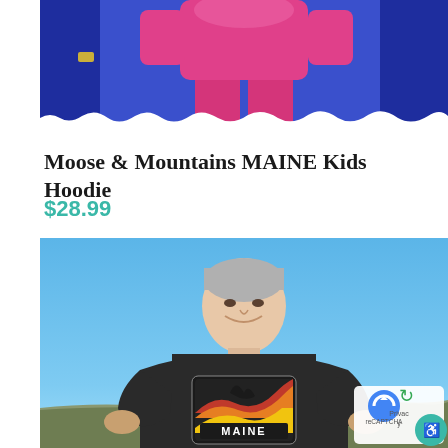[Figure (photo): Top portion of a child in a pink/magenta hoodie and pants on a blue background, with torn paper edge at the bottom]
Moose & Mountains MAINE Kids Hoodie
$28.99
[Figure (photo): A man with short gray hair smiling, wearing a dark long-sleeve shirt with a Maine graphic/logo on the chest, standing outdoors with a blue sky background. A reCAPTCHA privacy badge is visible in the bottom right corner.]